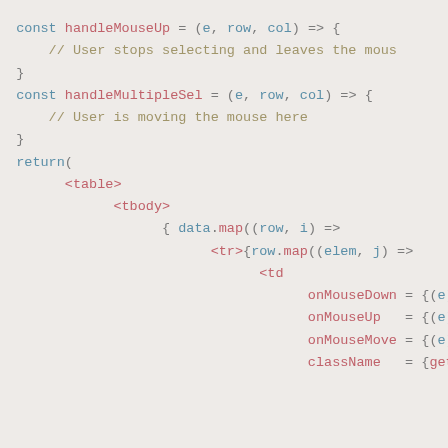const handleMouseUp = (e, row, col) => {

    // User stops selecting and leaves the mous

}

const handleMultipleSel = (e, row, col) => {

    // User is moving the mouse here

}

return(
      <table>
            <tbody>
                  { data.map((row, i) =>
                        <tr>{row.map((elem, j) =>
                              <td
                                    onMouseDown = {(e) => h
                                    onMouseUp   = {(e) => h
                                    onMouseMove = {(e) => h
                                    className   = {getClass